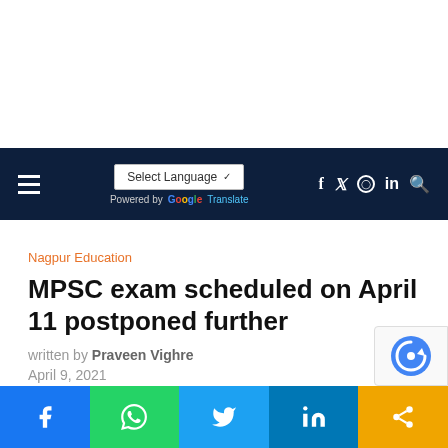Select Language ▾ | Powered by Google Translate | f  𝕏  ○  in  🔍
Nagpur Education
MPSC exam scheduled on April 11 postponed further
written by Praveen Vighre
April 9, 2021
f  WhatsApp  Twitter  in  Share